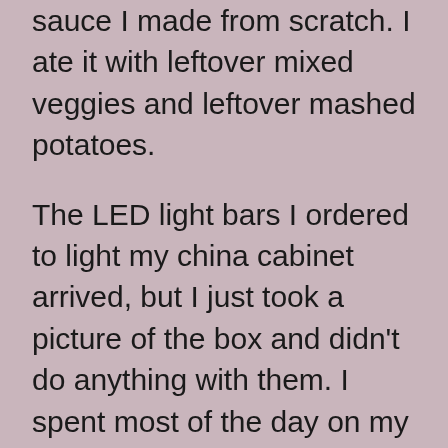sauce I made from scratch. I ate it with leftover mixed veggies and leftover mashed potatoes.
The LED light bars I ordered to light my china cabinet arrived, but I just took a picture of the box and didn't do anything with them. I spent most of the day on my computer being depressed and writing that update.
Dinner was frozen fish, butter noodles, and more mixed veggies. I'm getting tired of this blend but it's really the only decent one Kroger has besides stir fry. (And for some reason they no longer sell stir fry blends without noodles or rice or seasoning in them. Ugh.)